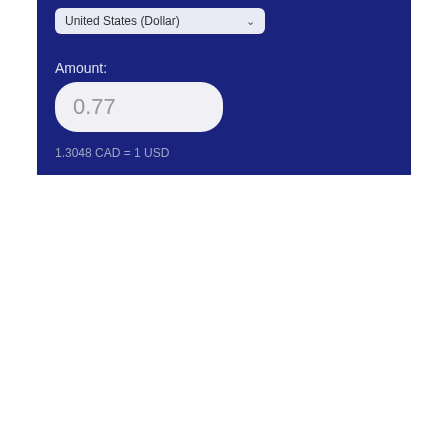United States (Dollar)
Amount:
0.77
1.3048 CAD = 1 USD